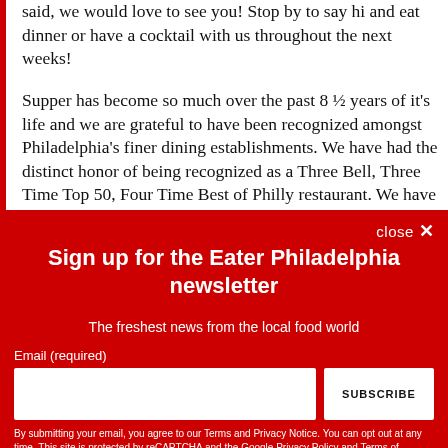said, we would love to see you! Stop by to say hi and eat dinner or have a cocktail with us throughout the next weeks!
Supper has become so much over the past 8 ½ years of it's life and we are grateful to have been recognized amongst Philadelphia's finer dining establishments. We have had the distinct honor of being recognized as a Three Bell, Three Time Top 50, Four Time Best of Philly restaurant. We have received
close ✕
Sign up for the Eater Philadelphia newsletter
The freshest news from the local food world
Email (required)
SUBSCRIBE
By submitting your email, you agree to our Terms and Privacy Notice. You can opt out at any time. This site is protected by reCAPTCHA and the Google Privacy Policy and Terms of Service apply.